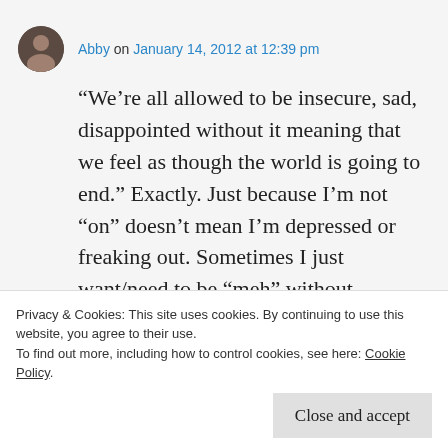Abby on January 14, 2012 at 12:39 pm
“We’re all allowed to be insecure, sad, disappointed without it meaning that we feel as though the world is going to end.” Exactly. Just because I’m not “on” doesn’t mean I’m depressed or freaking out. Sometimes I just want/need to be “meh” without explanation. Yes, there
Privacy & Cookies: This site uses cookies. By continuing to use this website, you agree to their use.
To find out more, including how to control cookies, see here: Cookie Policy
Close and accept